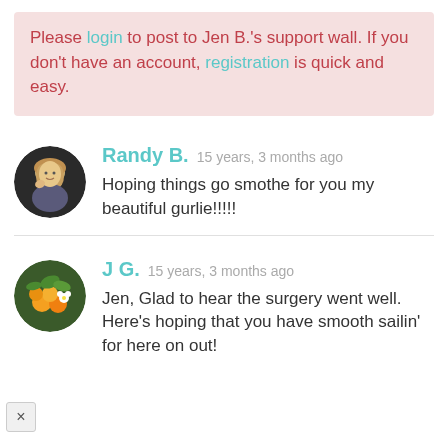Please login to post to Jen B.'s support wall. If you don't have an account, registration is quick and easy.
[Figure (photo): Avatar of Randy B. — a woman with blond hair]
Randy B. 15 years, 3 months ago
Hoping things go smothe for you my beautiful gurlie!!!!!
[Figure (photo): Avatar of J G. — oranges and white flowers on a tree]
J G. 15 years, 3 months ago
Jen, Glad to hear the surgery went well. Here's hoping that you have smooth sailin' for here on out!